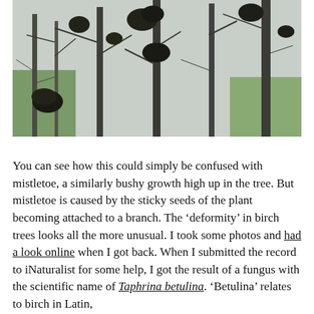[Figure (photo): Photo of bare winter birch trees with dark bushy growths (witches' broom / mistletoe-like formations) visible high up in the branches against a pale grey sky, with some green leafy trees in the background.]
You can see how this could simply be confused with mistletoe, a similarly bushy growth high up in the tree. But mistletoe is caused by the sticky seeds of the plant becoming attached to a branch. The 'deformity' in birch trees looks all the more unusual. I took some photos and had a look online when I got back. When I submitted the record to iNaturalist for some help, I got the result of a fungus with the scientific name of Taphrina betulina. 'Betulina' relates to birch in Latin, Betula pendula.